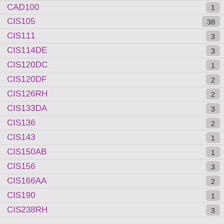CAD100  1
CIS105  38
CIS111  3
CIS114DE  3
CIS120DC  1
CIS120DF  2
CIS126RH  2
CIS133DA  3
CIS136  2
CIS143  1
CIS150AB  1
CIS156  3
CIS166AA  2
CIS190  1
CIS238RH  3